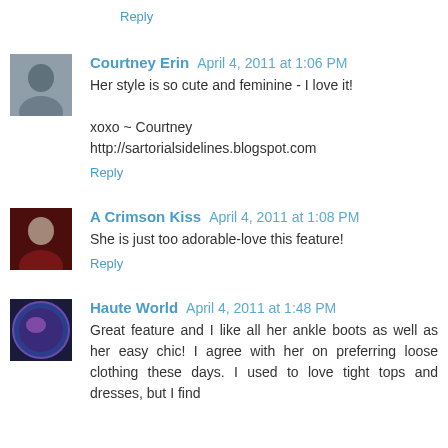Reply
Courtney Erin  April 4, 2011 at 1:06 PM
Her style is so cute and feminine - I love it!

xoxo ~ Courtney
http://sartorialsidelines.blogspot.com
Reply
A Crimson Kiss  April 4, 2011 at 1:08 PM
She is just too adorable-love this feature!
Reply
Haute World  April 4, 2011 at 1:48 PM
Great feature and I like all her ankle boots as well as her easy chic! I agree with her on preferring loose clothing these days. I used to love tight tops and dresses, but I find